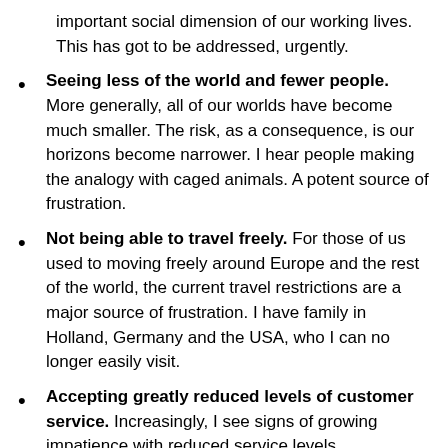important social dimension of our working lives. This has got to be addressed, urgently.
Seeing less of the world and fewer people. More generally, all of our worlds have become much smaller. The risk, as a consequence, is our horizons become narrower. I hear people making the analogy with caged animals. A potent source of frustration.
Not being able to travel freely. For those of us used to moving freely around Europe and the rest of the world, the current travel restrictions are a major source of frustration. I have family in Holland, Germany and the USA, who I can no longer easily visit.
Accepting greatly reduced levels of customer service. Increasingly, I see signs of growing impatience with reduced service levels